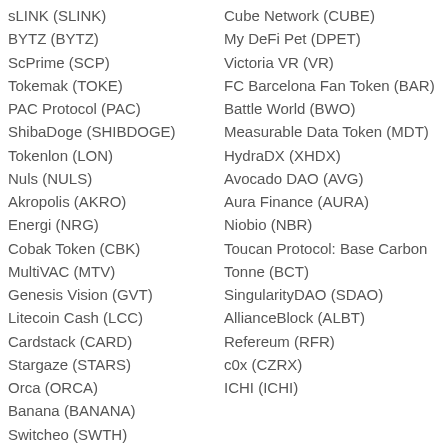sLINK (SLINK)
BYTZ (BYTZ)
ScPrime (SCP)
Tokemak (TOKE)
PAC Protocol (PAC)
ShibaDoge (SHIBDOGE)
Tokenlon (LON)
Nuls (NULS)
Akropolis (AKRO)
Energi (NRG)
Cobak Token (CBK)
MultiVAC (MTV)
Genesis Vision (GVT)
Litecoin Cash (LCC)
Cardstack (CARD)
Stargaze (STARS)
Orca (ORCA)
Banana (BANANA)
Switcheo (SWTH)
Cube Network (CUBE)
My DeFi Pet (DPET)
Victoria VR (VR)
FC Barcelona Fan Token (BAR)
Battle World (BWO)
Measurable Data Token (MDT)
HydraDX (XHDX)
Avocado DAO (AVG)
Aura Finance (AURA)
Niobio (NBR)
Toucan Protocol: Base Carbon Tonne (BCT)
SingularityDAO (SDAO)
AllianceBlock (ALBT)
Refereum (RFR)
c0x (CZRX)
ICHI (ICHI)